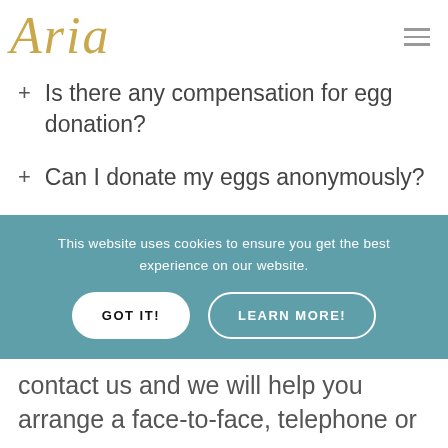[Figure (logo): Aria script logo in gold italic font]
+ Is there any compensation for egg donation?
+ Can I donate my eggs anonymously?
This website uses cookies to ensure you get the best experience on our website.
GOT IT! | LEARN MORE!
contact us and we will help you arrange a face-to-face, telephone or